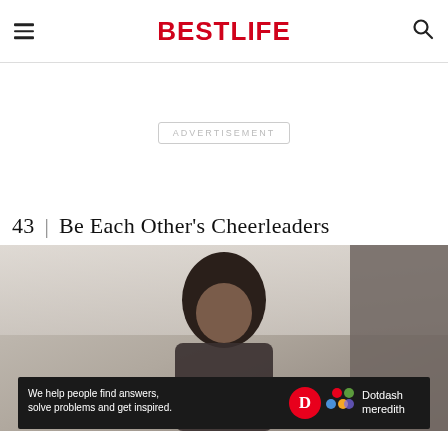BESTLIFE
ADVERTISEMENT
43 | Be Each Other's Cheerleaders
[Figure (photo): Photo of a person, partially visible, with a Dotdash Meredith advertisement banner overlay reading 'We help people find answers, solve problems and get inspired.']